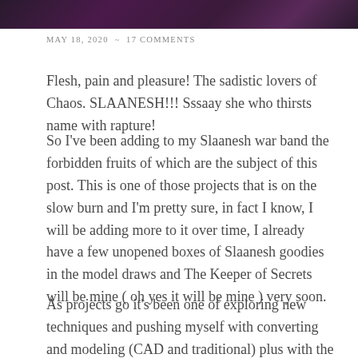[Figure (photo): Dark purple/black fantasy image strip at top of page]
MAY 18, 2020  ~  17 COMMENTS
Flesh, pain and pleasure! The sadistic lovers of Chaos. SLAANESH!!! Sssaay she who thirsts name with rapture!
So I've been adding to my Slaanesh war band the forbidden fruits of which are the subject of this post. This is one of those projects that is on the slow burn and I'm pretty sure, in fact I know, I will be adding more to it over time, I already have a few unopened boxes of Slaanesh goodies in the model draws and The Keeper of Secrets will be mine ( oh yes it will be mine ) very soon.
As projects go it's been one of exploring new techniques and pushing myself with converting and modeling (CAD and traditional) plus with the release of Contrast